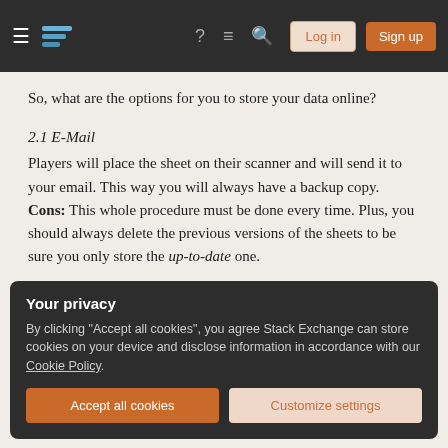Stack Exchange navigation bar with hamburger menu, logo, help, chat, search, Log in and Sign up buttons
So, what are the options for you to store your data online?
2.1 E-Mail
Players will place the sheet on their scanner and will send it to your email. This way you will always have a backup copy.
Cons: This whole procedure must be done every time. Plus, you should always delete the previous versions of the sheets to be sure you only store the up-to-date one.
Your privacy
By clicking "Accept all cookies", you agree Stack Exchange can store cookies on your device and disclose information in accordance with our Cookie Policy.
Accept all cookies | Customize settings
Cons: You still have to scan the sheet everytime.